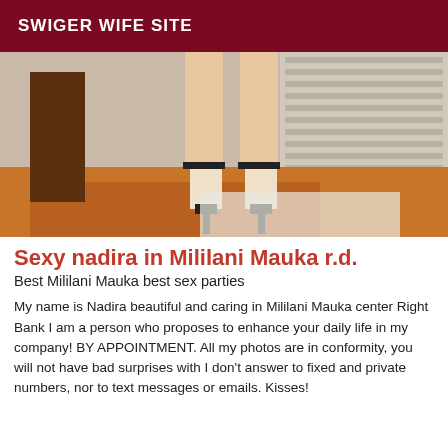SWIGER WIFE SITE
[Figure (photo): Photo showing legs of a woman wearing high heels standing on a wooden floor]
Sexy nadira in Mililani Mauka r.d.
Best Mililani Mauka best sex parties
My name is Nadira beautiful and caring in Mililani Mauka center Right Bank I am a person who proposes to enhance your daily life in my company! BY APPOINTMENT. All my photos are in conformity, you will not have bad surprises with I don't answer to fixed and private numbers, nor to text messages or emails. Kisses!